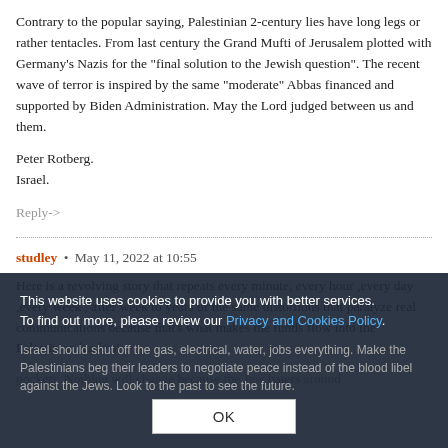Contrary to the popular saying, Palestinian 2-century lies have long legs or rather tentacles. From last century the Grand Mufti of Jerusalem plotted with Germany's Nazis for the "final solution to the Jewish question". The recent wave of terror is inspired by the same "moderate" Abbas financed and supported by Biden Administration. May the Lord judged between us and them.
Peter Rotberg.
Israel.
Reply->
studley • May 11, 2022 at 10:55
Here is a revolving story that repeats every minute, every hour ,every day ,every week , after week to years of the same distortions that paralyze real communications because that's what makes the funds flow into the Palestinian leaders' pockets. Nothing will change because the Jew haters around
This website uses cookies to provide you with better services. To find out more, please review our Privacy and Cookies Policy.
Israel should shut off the gas, electrical, water, jobs everything. Make the Palestinians beg their leaders to negotiate peace instead of the blood libel against the Jews. Look to the past to see the future.
OK